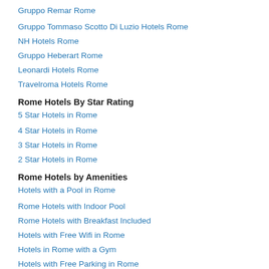Gruppo Remar Rome
Gruppo Tommaso Scotto Di Luzio Hotels Rome
NH Hotels Rome
Gruppo Heberart Rome
Leonardi Hotels Rome
Travelroma Hotels Rome
Rome Hotels By Star Rating
5 Star Hotels in Rome
4 Star Hotels in Rome
3 Star Hotels in Rome
2 Star Hotels in Rome
Rome Hotels by Amenities
Hotels with a Pool in Rome
Rome Hotels with Indoor Pool
Rome Hotels with Breakfast Included
Hotels with Free Wifi in Rome
Hotels in Rome with a Gym
Hotels with Free Parking in Rome
Hotels in Rome with Childcare
Rome Hotels with Valet Parking
Accommodation Types in Rome